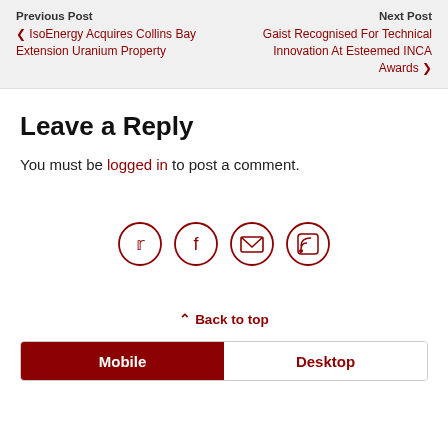Previous Post | ❮ IsoEnergy Acquires Collins Bay Extension Uranium Property | Next Post | Gaist Recognised For Technical Innovation At Esteemed INCA Awards ❯
Leave a Reply
You must be logged in to post a comment.
[Figure (other): Four social media icon circles: Twitter, Facebook, Email, RSS Feed]
⌃ Back to top
Mobile | Desktop